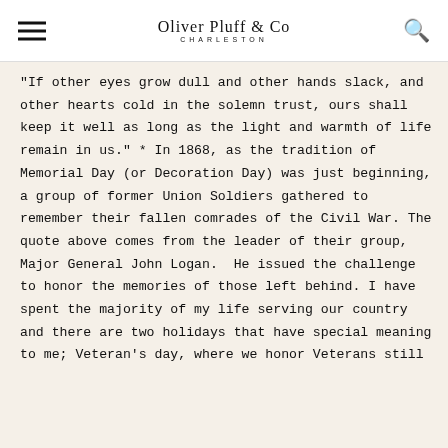Oliver Pluff & Co CHARLESTON
"If other eyes grow dull and other hands slack, and other hearts cold in the solemn trust, ours shall keep it well as long as the light and warmth of life remain in us." * In 1868, as the tradition of Memorial Day (or Decoration Day) was just beginning, a group of former Union Soldiers gathered to remember their fallen comrades of the Civil War. The quote above comes from the leader of their group, Major General John Logan.  He issued the challenge to honor the memories of those left behind. I have spent the majority of my life serving our country and there are two holidays that have special meaning to me; Veteran's day, where we honor Veterans still